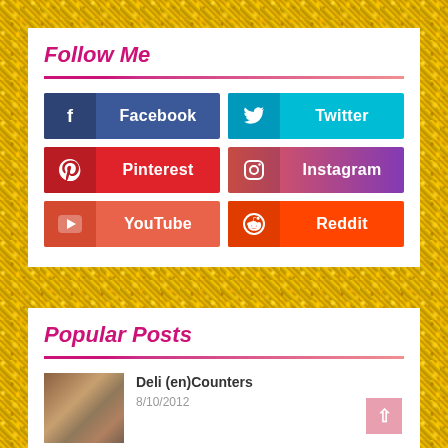Follow Me
Facebook
Twitter
Pinterest
Instagram
YouTube
Reddit
Popular Posts
Deli (en)Counters
8/10/2012
Acupuncher: Punch Your Bunion into